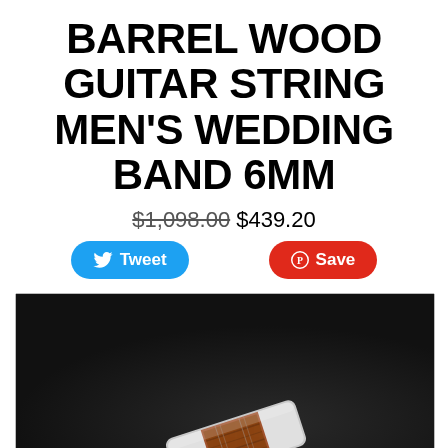BARREL WOOD GUITAR STRING MEN'S WEDDING BAND 6MM
$1,098.00 $439.20
[Figure (screenshot): Social sharing buttons: Tweet (blue, Twitter) and Save (red, Pinterest)]
[Figure (photo): Product photo of a barrel wood guitar string men's wedding band ring on a dark background]